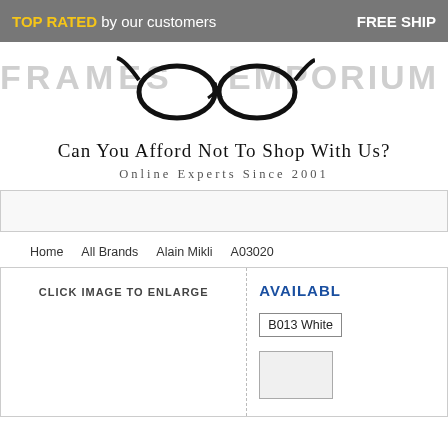TOP RATED by our customers   FREE SHIP
[Figure (logo): Frames Emporium logo with eyeglasses image, text FRAMES EMPORIUM]
Can You Afford Not To Shop With Us?
Online Experts Since 2001
CLICK IMAGE TO ENLARGE
AVAILABL
B013 White
Home
All Brands
Alain Mikli
A03020